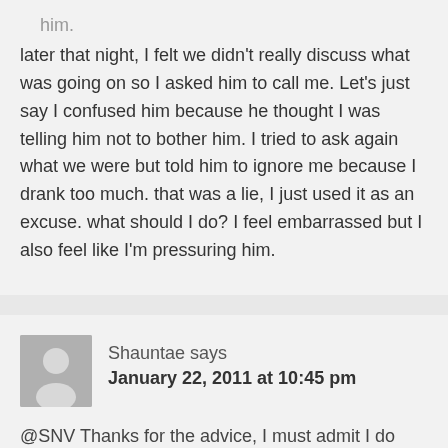him. later that night, I felt we didn't really discuss what was going on so I asked him to call me. Let's just say I confused him because he thought I was telling him not to bother him. I tried to ask again what we were but told him to ignore me because I drank too much. that was a lie, I just used it as an excuse. what should I do? I feel embarrassed but I also feel like I'm pressuring him.
Shauntae says
January 22, 2011 at 10:45 pm
@SNV Thanks for the advice, I must admit I do